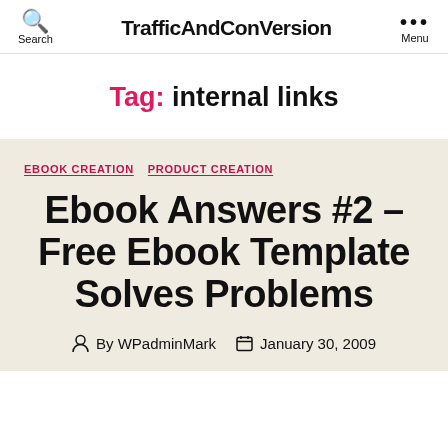TrafficAndConVersion | Search | Menu
Tag: internal links
EBOOK CREATION  PRODUCT CREATION
Ebook Answers #2 – Free Ebook Template Solves Problems
By WPadminMark  January 30, 2009